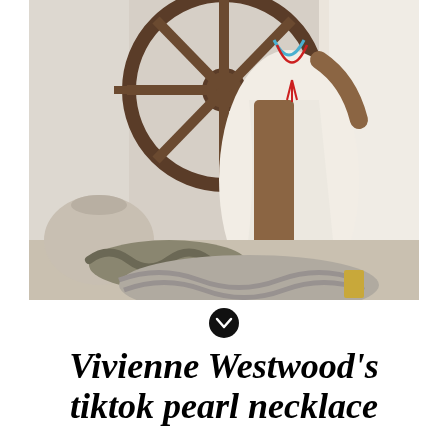[Figure (photo): A woman in a long white flowing dress standing next to a large wooden ship's wheel. On the floor there is a large clay pot, chunky knit textile, and a woven rug. She wears colorful necklaces including what appears to be a red tassel necklace.]
[Figure (other): A small circular icon with a downward-pointing chevron arrow inside a dark circle]
Vivienne Westwood's tiktok pearl necklace